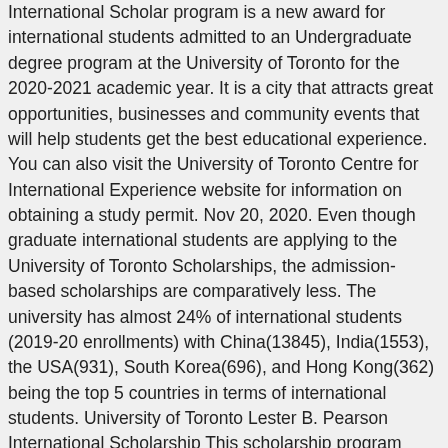International Scholar program is a new award for international students admitted to an Undergraduate degree program at the University of Toronto for the 2020-2021 academic year. It is a city that attracts great opportunities, businesses and community events that will help students get the best educational experience. You can also visit the University of Toronto Centre for International Experience website for information on obtaining a study permit. Nov 20, 2020. Even though graduate international students are applying to the University of Toronto Scholarships, the admission-based scholarships are comparatively less. The university has almost 24% of international students (2019-20 enrollments) with China(13845), India(1553), the USA(931), South Korea(696), and Hong Kong(362) being the top 5 countries in terms of international students. University of Toronto Lester B. Pearson International Scholarship This scholarship program provides an extraordinary opportunity for international students to study at the university. There are students from more than 190 countries, they make up nearly 25% of the student population. * *2019 Best Student Cities by QS Top